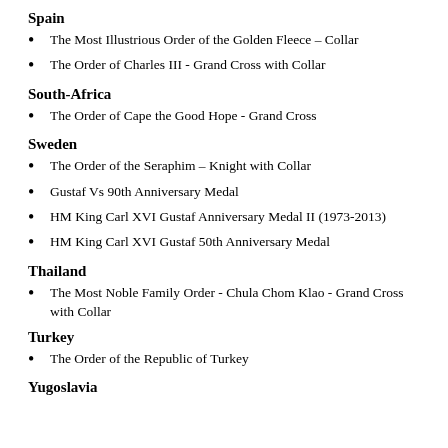Spain
The Most Illustrious Order of the Golden Fleece – Collar
The Order of Charles III - Grand Cross with Collar
South-Africa
The Order of Cape the Good Hope - Grand Cross
Sweden
The Order of the Seraphim – Knight with Collar
Gustaf Vs 90th Anniversary Medal
HM King Carl XVI Gustaf Anniversary Medal II (1973-2013)
HM King Carl XVI Gustaf 50th Anniversary Medal
Thailand
The Most Noble Family Order - Chula Chom Klao - Grand Cross with Collar
Turkey
The Order of the Republic of Turkey
Yugoslavia